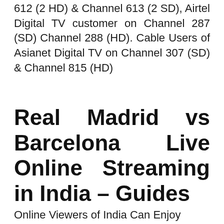612 (2 HD) & Channel 613 (2 SD), Airtel Digital TV customer on Channel 287 (SD) Channel 288 (HD). Cable Users of Asianet Digital TV on Channel 307 (SD) & Channel 815 (HD)
Real Madrid vs Barcelona Live Online Streaming in India – Guides
Online Viewers of India Can Enjoy